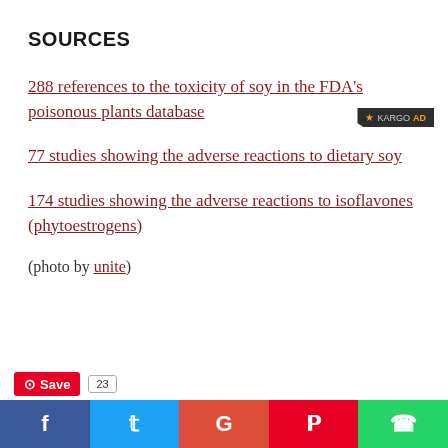SOURCES
288 references to the toxicity of soy in the FDA's poisonous plants database
77 studies showing the adverse reactions to dietary soy
174 studies showing the adverse reactions to isoflavones (phytoestrogens)
(photo by unite)
Save 23 | Facebook | Twitter | Google | Pinterest | WhatsApp